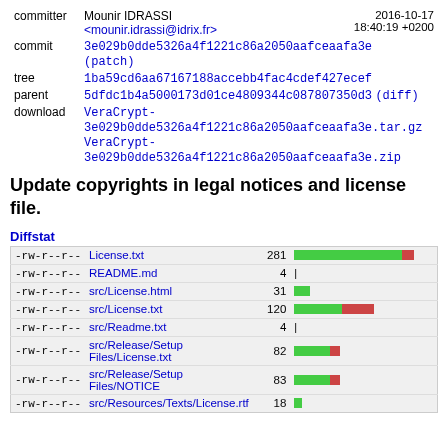| label | value | date |
| --- | --- | --- |
| committer | Mounir IDRASSI
<mounir.idrassi@idrix.fr> | 2016-10-17
18:40:19 +0200 |
| commit | 3e029b0dde5326a4f1221c86a2050aafceaafa3e
(patch) |  |
| tree | 1ba59cd6aa67167188accebb4fac4cdef427ecef |  |
| parent | 5dfdc1b4a5000173d01ce4809344c087807350d3 (diff) |  |
| download | VeraCrypt-3e029b0dde5326a4f1221c86a2050aafceaafa3e.tar.gz
VeraCrypt-3e029b0dde5326a4f1221c86a2050aafceaafa3e.zip |  |
Update copyrights in legal notices and license file.
Diffstat
| permissions | file | count | bar |
| --- | --- | --- | --- |
| -rw-r--r-- | License.txt | 281 | large green + small red |
| -rw-r--r-- | README.md | 4 | tiny pipe |
| -rw-r--r-- | src/License.html | 31 | small green |
| -rw-r--r-- | src/License.txt | 120 | medium green + medium red |
| -rw-r--r-- | src/Readme.txt | 4 | tiny pipe |
| -rw-r--r-- | src/Release/Setup Files/License.txt | 82 | medium green + small red |
| -rw-r--r-- | src/Release/Setup Files/NOTICE | 83 | medium green + small red |
| -rw-r--r-- | src/Resources/Texts/License.rtf | 18 | tiny green |